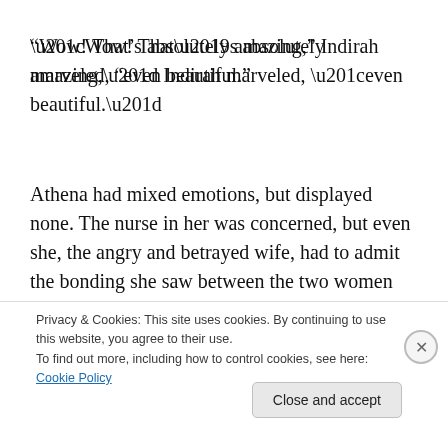“Wow! That’s absolutely amazing,” Indirah marveled, “even beautiful.”
Athena had mixed emotions, but displayed none. The nurse in her was concerned, but even she, the angry and betrayed wife, had to admit the bonding she saw between the two women was amazing.
Just as the situation had calmed, Athena’s husband pulled onto the driveway. Athena never let on that she and Gayle had a confrontation when she secretly dialed his number.
Privacy & Cookies: This site uses cookies. By continuing to use this website, you agree to their use.
To find out more, including how to control cookies, see here: Cookie Policy